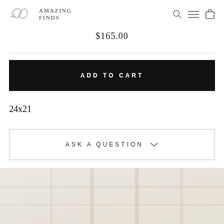AMAZING FINDS
$165.00
ADD TO CART
24x21
ASK A QUESTION
[Figure (photo): Faded background interior room photo at bottom of page]